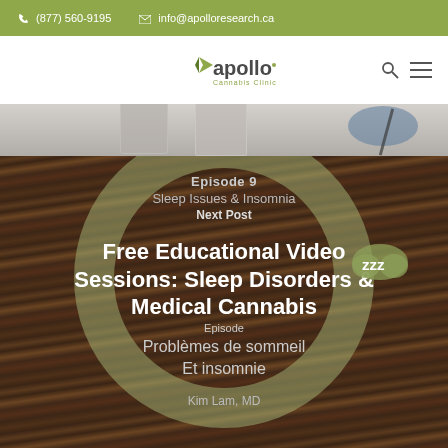(877) 560-9195  info@apolloresearch.ca
[Figure (logo): Apollo Cannabis Clinic logo with green arrow and text]
[Figure (photo): Medical equipment on a table - top hero image]
[Figure (photo): Dark wood background with circular design overlay]
Episode 9
Sleep Issues & Insomnia
Next Post
Free Educational Video Sessions: Sleep Disorders & Medical Cannabis
Episode
Problèmes de sommeil
Et insomnie
Kim Lam, MD